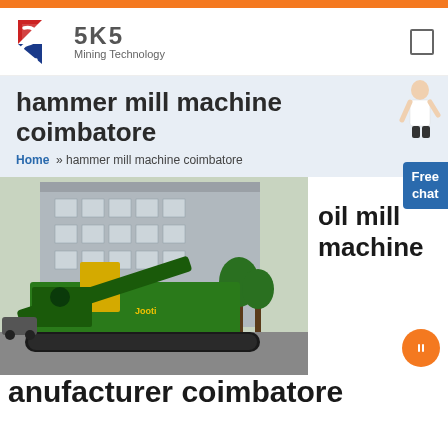[Figure (logo): SKS Mining Technology logo with red and blue angular S icon]
hammer mill machine coimbatore
Home » hammer mill machine coimbatore
[Figure (photo): Large green mobile hammer mill / crushing machine on tracks parked in front of a grey industrial building]
oil mill machine
anufacturer coimbatore